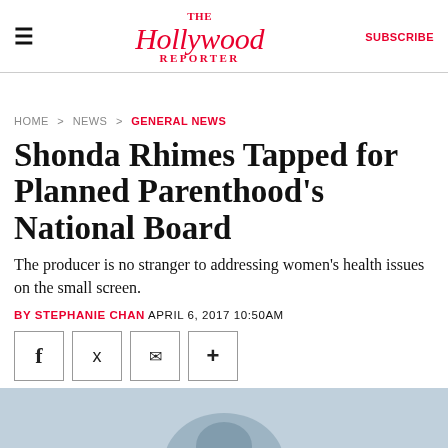The Hollywood Reporter | SUBSCRIBE
HOME > NEWS > GENERAL NEWS
Shonda Rhimes Tapped for Planned Parenthood's National Board
The producer is no stranger to addressing women's health issues on the small screen.
BY STEPHANIE CHAN APRIL 6, 2017 10:50AM
[Figure (screenshot): Social sharing buttons: Facebook, Twitter, Email, and a plus/more button]
[Figure (photo): Partial photo of a person, cropped at bottom of page with light blue/grey background]